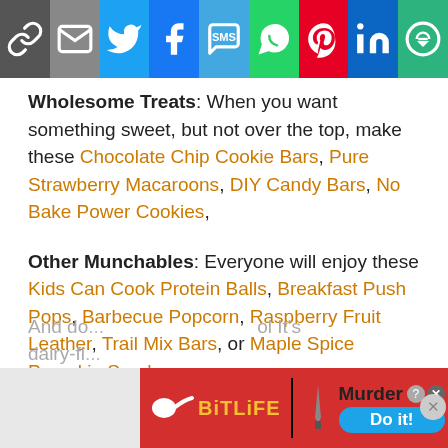[Figure (other): Social share bar with buttons: link, email, Twitter, Facebook, SMS, WhatsApp, Pinterest, LinkedIn, More]
Wholesome Treats: When you want something sweet, but not over the top, make these Chocolate Chip Cookie Bars, Pure Strawberry Macaroons, DIY Candy Bars, No Bake Power Cookies,
Other Munchables: Everyone will enjoy these Kids Can Cook Protein Balls, Breakfast Push Pops, Barbecue Popcorn, Raspberry Fruit Leather, Trail Mix Bars, or Maple Spice Pumpkin Seeds.
And do... ol It's dairy-fi...
[Figure (screenshot): BitLife advertisement banner with Murder - Do it! call to action]